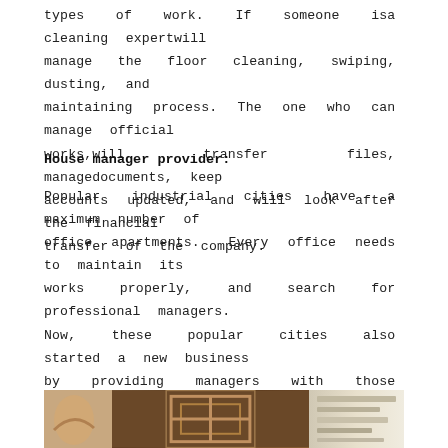types of work. If someone isa cleaning expertwill manage the floor cleaning, swiping, dusting, and maintaining process. The one who can manage official works,will transfer files, managedocuments, keep accounts updated, and will look after the financial transfer of the company.
House manager provider:
Popular industrial cities have a maximum number of office apartments. Every office needs to maintain its works properly, and search for professional managers. Now, these popular cities also started a new business by providing managers with those workplaces. They have several websites that connect the managers with the office and provide the managing services in a package system.
[Figure (photo): Photo strip showing hands and decorative objects including a cross/ornamental wall piece, with vertical stripes on the right side]